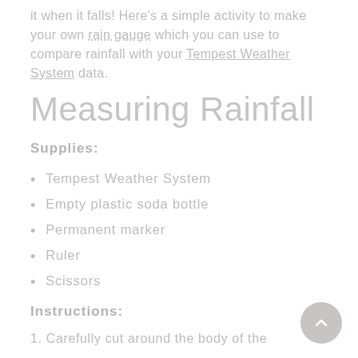it when it falls! Here's a simple activity to make your own rain gauge which you can use to compare rainfall with your Tempest Weather System data.
Measuring Rainfall
Supplies:
Tempest Weather System
Empty plastic soda bottle
Permanent marker
Ruler
Scissors
Instructions:
1. Carefully cut around the body of the